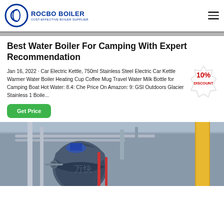ROCBO BOILER - COST-EFFECTIVE BOILER SUPPLIER
Best Water Boiler For Camping With Expert Recommendation
Jan 16, 2022 · Car Electric Kettle, 750ml Stainless Steel Electric Car Kettle Warmer Water Boiler Heating Cup Coffee Mug Travel Water Milk Bottle for Camping Boat Hot Water: 8.4: Che Price On Amazon: 9: GSI Outdoors Glacier Stainless 1 Boiler...
[Figure (illustration): 10% DISCOUNT badge/sticker in red and yellow]
[Figure (photo): Industrial boiler factory interior with large blue boiler vessel, pipes, and yellow column]